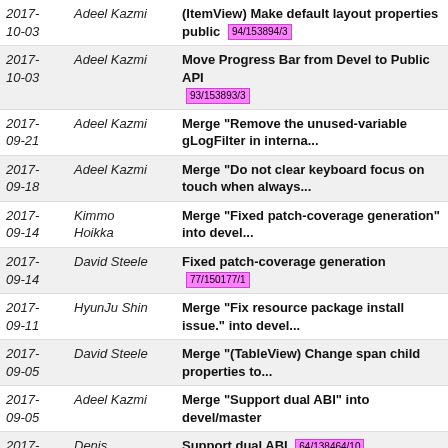| Date | Author | Message |
| --- | --- | --- |
| 2017-10-03 | Adeel Kazmi | (ItemView) Make default layout properties public  94/153894/3 |
| 2017-10-03 | Adeel Kazmi | Move Progress Bar from Devel to Public API  93/153893/3 |
| 2017-09-21 | Adeel Kazmi | Merge "Remove the unused-variable gLogFilter in interna... |
| 2017-09-18 | Adeel Kazmi | Merge "Do not clear keyboard focus on touch when always... |
| 2017-09-14 | Kimmo Hoikka | Merge "Fixed patch-coverage generation" into devel... |
| 2017-09-14 | David Steele | Fixed patch-coverage generation  77/150177/1 |
| 2017-09-11 | HyunJu Shin | Merge "Fix resource package install issue." into devel... |
| 2017-09-05 | David Steele | Merge "(TableView) Change span child properties to... |
| 2017-09-05 | Adeel Kazmi | Merge "Support dual ABI" into devel/master |
| 2017-09-04 | Denis Khalikov | Support dual ABI  64/138464/10 |
| 2017-07-14 | HyunJu Shin | Merge "Calculate a new height when full relayout needed... |
| 2017-07-13 | Jinho, Lee | Merge "Applyed text padding to TextLabel, Field, Editor... |
| 2017-07-03 | Seoyeon Kim | Merge "Implement Placeholder additional property" into... |
| 2017- | Adeel Kazmi | Merge "Fix ... |